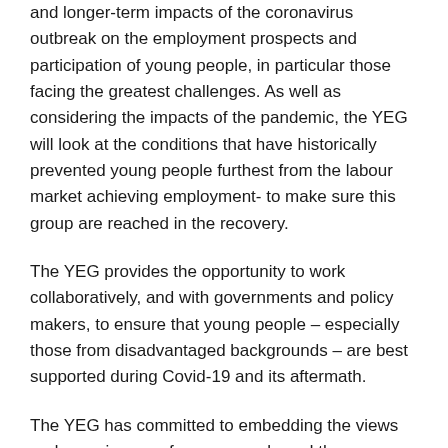and longer-term impacts of the coronavirus outbreak on the employment prospects and participation of young people, in particular those facing the greatest challenges. As well as considering the impacts of the pandemic, the YEG will look at the conditions that have historically prevented young people furthest from the labour market achieving employment- to make sure this group are reached in the recovery.
The YEG provides the opportunity to work collaboratively, and with governments and policy makers, to ensure that young people – especially those from disadvantaged backgrounds – are best supported during Covid-19 and its aftermath.
The YEG has committed to embedding the views and experiences of young people and the